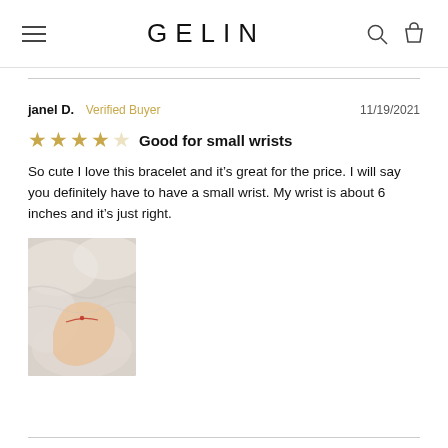GELIN
janel D.  Verified Buyer  11/19/2021
Good for small wrists
So cute I love this bracelet and it’s great for the price. I will say you definitely have to have a small wrist. My wrist is about 6 inches and it’s just right.
[Figure (photo): Photo of a wrist wearing a delicate bracelet, resting on a fluffy white fabric]